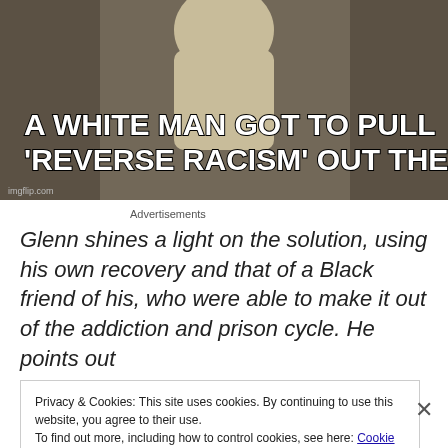[Figure (photo): A person in a light-colored outfit against a blurred background, with white bold text overlay reading: A WHITE MAN GOT TO PULL 'REVERSE RACISM' OUT THEY ASS. Small imgflip.com watermark in bottom left.]
Advertisements
Glenn shines a light on the solution, using his own recovery and that of a Black friend of his, who were able to make it out of the addiction and prison cycle. He points out
Privacy & Cookies: This site uses cookies. By continuing to use this website, you agree to their use.
To find out more, including how to control cookies, see here: Cookie Policy
Close and accept